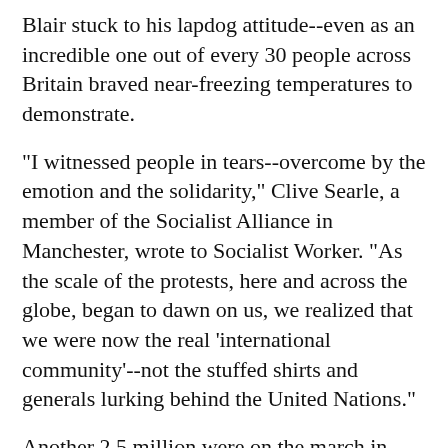Blair stuck to his lapdog attitude--even as an incredible one out of every 30 people across Britain braved near-freezing temperatures to demonstrate.
"I witnessed people in tears--overcome by the emotion and the solidarity," Clive Searle, a member of the Socialist Alliance in Manchester, wrote to Socialist Worker. "As the scale of the protests, here and across the globe, began to dawn on us, we realized that we were now the real 'international community'--not the stuffed shirts and generals lurking behind the United Nations."
Another 2.5 million were on the march in Rome against another favored U.S. ally--Italy's right-wing Prime Minister Silvio Berlusconi. Tides of people swept past a huge banner reading "Stop the War" and a blow-up of Picasso's famous antiwar painting "Guernica" at the end of the march route.
Some 1 million people protested in Barcelona, Spain,